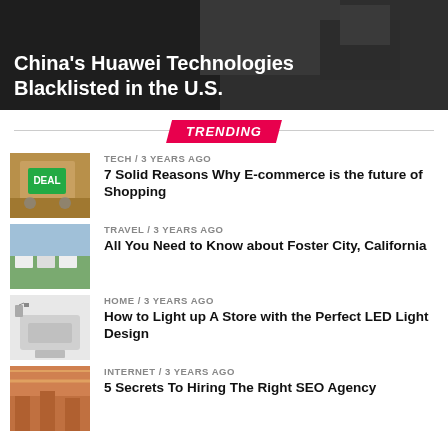[Figure (photo): Hero image with dark background showing headline about Huawei]
China's Huawei Technologies Blacklisted in the U.S.
TRENDING
TECH / 3 years ago
7 Solid Reasons Why E-commerce is the future of Shopping
TRAVEL / 3 years ago
All You Need to Know about Foster City, California
HOME / 3 years ago
How to Light up A Store with the Perfect LED Light Design
INTERNET / 3 years ago
5 Secrets To Hiring The Right SEO Agency